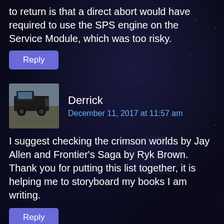to return is that a direct abort would have required to use the SPS engine on the Service Module, which was too risky.
Reply
Derrick
December 11, 2017 at 11:57 am
I suggest checking the crimson worlds by Jay Allen and Frontier's Saga by Ryk Brown. Thank you for putting this list together, it is helping me to storyboard my books I am writing.
Reply